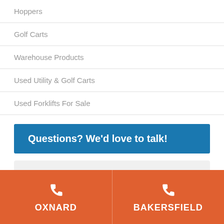Hoppers
Golf Carts
Warehouse Products
Used Utility & Golf Carts
Used Forklifts For Sale
Questions? We'd love to talk!
Full Name
Email
OXNARD
BAKERSFIELD